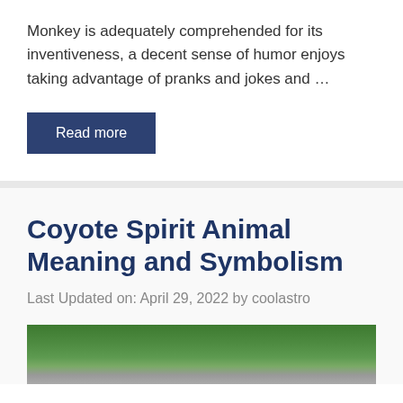Monkey is adequately comprehended for its inventiveness, a decent sense of humor enjoys taking advantage of pranks and jokes and …
Read more
Coyote Spirit Animal Meaning and Symbolism
Last Updated on: April 29, 2022 by coolastro
[Figure (photo): Partial view of a coyote or nature scene, showing green foliage at the top and a darker background below, cropped at the bottom of the page.]